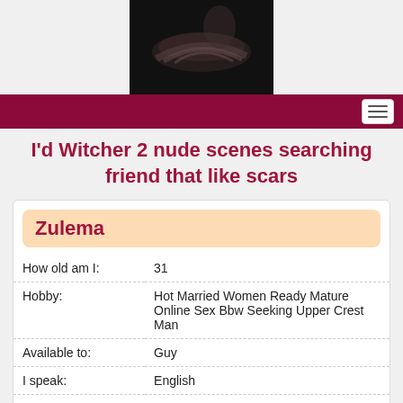[Figure (photo): Dark artistic photo showing a person's back, low-key lighting against a dark background]
I'd Witcher 2 nude scenes searching friend that like scars
| How old am I: | 31 |
| Hobby: | Hot Married Women Ready Mature Online Sex Bbw Seeking Upper Crest Man |
| Available to: | Guy |
| I speak: | English |
| Sign of the zodiac: | I'm Cancer |
| What is my hobbies: | Travelling |